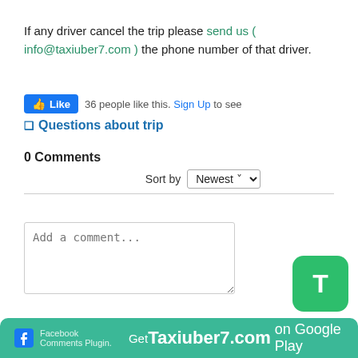If any driver cancel the trip please send us ( info@taxiuber7.com ) the phone number of that driver.
[Figure (screenshot): Facebook Like button widget showing '36 people like this. Sign Up to see']
❑ Questions about trip
0 Comments
Sort by Newest
Add a comment...
[Figure (screenshot): Green rounded square button with white letter T]
Get Taxiuber7.com on Google Play